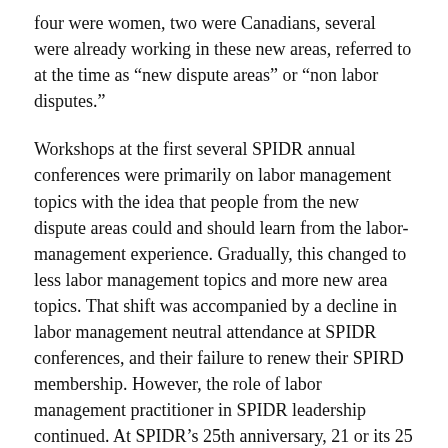four were women, two were Canadians, several were already working in these new areas, referred to at the time as “new dispute areas” or “non labor disputes.”
Workshops at the first several SPIDR annual conferences were primarily on labor management topics with the idea that people from the new dispute areas could and should learn from the labor-management experience. Gradually, this changed to less labor management topics and more new area topics. That shift was accompanied by a decline in labor management neutral attendance at SPIDR conferences, and their failure to renew their SPIRD membership. However, the role of labor management practitioner in SPIDR leadership continued. At SPIDR’s 25th anniversary, 21 or its 25 past presidents had labor-management experience.